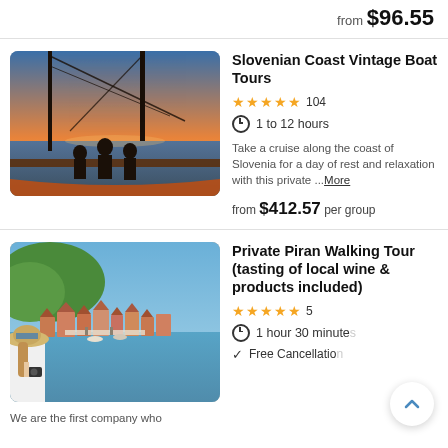from $96.55
Slovenian Coast Vintage Boat Tours
★★★★★ 104
1 to 12 hours
Take a cruise along the coast of Slovenia for a day of rest and relaxation with this private ...More
from $412.57 per group
[Figure (photo): Sunset photo of silhouetted people on a vintage sailing boat deck with ocean horizon]
Private Piran Walking Tour (tasting of local wine & products included)
★★★★★ 5
1 hour 30 minutes
Free Cancellation
We are the first company who
[Figure (photo): Aerial view of Piran coastal town with a woman in straw hat looking at the view]